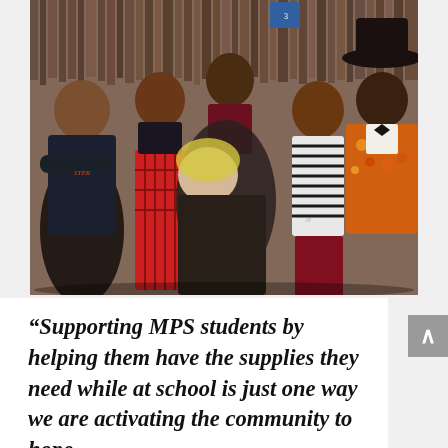[Figure (photo): A group of six people posing together in what appears to be a record store. From left to right: a man in a dark t-shirt with arms crossed, a man in red plaid pants making a gesture, a man in a dark shirt in the back, a woman with light hair bending forward, a man in a striped shirt, and a man in a decorative jacket and wide-brimmed hat on the far right. Shelves of records are visible in the background.]
“Supporting MPS students by helping them have the supplies they need while at school is just one way we are activating the community to hope